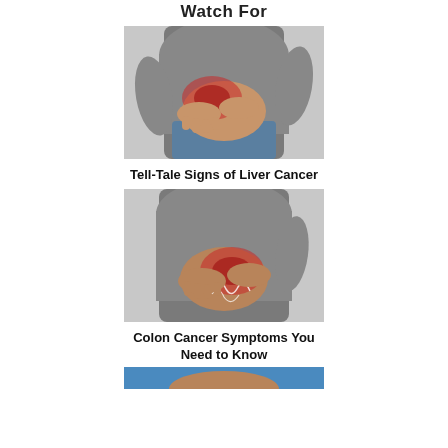Watch For
[Figure (photo): Person in gray t-shirt and jeans holding abdomen with both hands, with a red highlighted liver area indicating liver pain or cancer symptoms]
Tell-Tale Signs of Liver Cancer
[Figure (photo): Person in gray t-shirt holding right side of abdomen with both hands, with a red highlighted colon/intestine area indicating colon cancer symptoms]
Colon Cancer Symptoms You Need to Know
[Figure (photo): Partial view of another medical image at bottom of page, partially cut off]